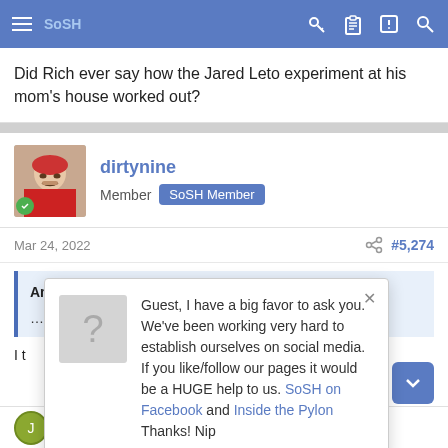SoSH [navigation bar with hamburger menu, key, clipboard, alert, search icons]
Did Rich ever say how the Jared Leto experiment at his mom's house worked out?
dirtynine
Member  SoSH Member
Mar 24, 2022	#5,274
Andy Merchant said: ↑
...his mom's house
I t... h with it. Sounded li... te right.
Guest, I have a big favor to ask you. We've been working very hard to establish ourselves on social media. If you like/follow our pages it would be a HUGE help to us. SoSH on Facebook and Inside the Pylon Thanks! Nip
JCizzie
Member  SoSH Member